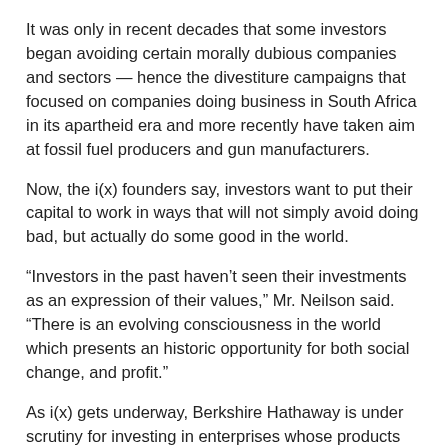It was only in recent decades that some investors began avoiding certain morally dubious companies and sectors — hence the divestiture campaigns that focused on companies doing business in South Africa in its apartheid era and more recently have taken aim at fossil fuel producers and gun manufacturers.
Now, the i(x) founders say, investors want to put their capital to work in ways that will not simply avoid doing bad, but actually do some good in the world.
“Investors in the past haven’t seen their investments as an expression of their values,” Mr. Neilson said. “There is an evolving consciousness in the world which presents an historic opportunity for both social change, and profit.”
As i(x) gets underway, Berkshire Hathaway is under scrutiny for investing in enterprises whose products have drawn criticism over social issues.
Berkshire Hathaway is a large shareholder of Coca-Cola, and the elder Mr. Buffett regularly professes his love for junk food, even as American eating habits are changing to healthier fare. This month, the hedge fund manager William A. Ackman, trading public barbs with the Berkshire Hathaway vice chairman, Charlie Munger, said Coca-Cola